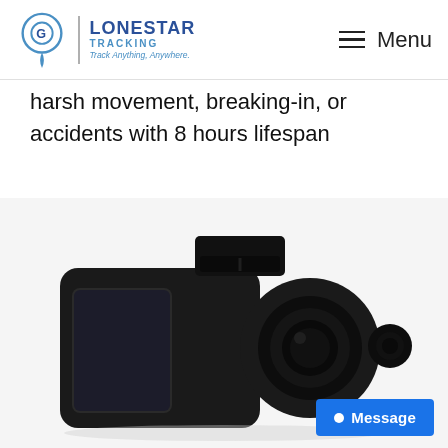LONESTAR TRACKING — Track Anything, Anywhere. Menu
harsh movement, breaking-in, or accidents with 8 hours lifespan
[Figure (photo): Close-up photo of a black dash camera device with a mount on top and a lens on the right side, shown against a white background.]
Message